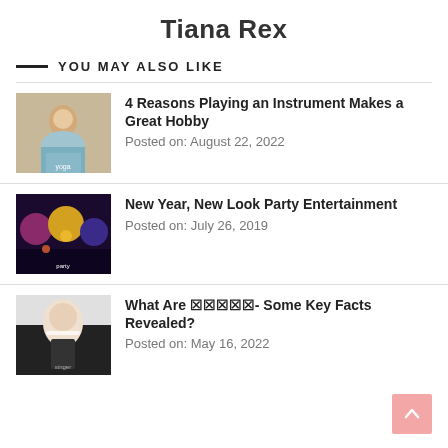Tiana Rex
YOU MAY ALSO LIKE
4 Reasons Playing an Instrument Makes a Great Hobby
Posted on: August 22, 2022
New Year, New Look Party Entertainment
Posted on: July 26, 2019
What Are ▪▪▪▪▪- Some Key Facts Revealed?
Posted on: May 16, 2022